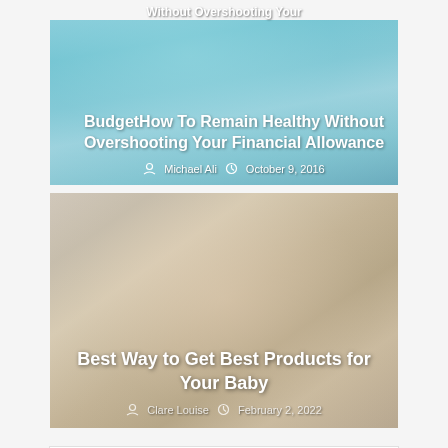[Figure (photo): Blog post card with blue piggy bank background image. Title overlay: 'BudgetHow To Remain Healthy Without Overshooting Your Financial Allowance'. Author: Michael Ali, Date: October 9, 2016.]
BudgetHow To Remain Healthy Without Overshooting Your Financial Allowance
Michael Ali · October 9, 2016
[Figure (photo): Blog post card with baby being changed background image. Title overlay: 'Best Way to Get Best Products for Your Baby'. Author: Clare Louise, Date: February 2, 2022.]
Best Way to Get Best Products for Your Baby
Clare Louise · February 2, 2022
POPULAR   LATEST   COMMENT